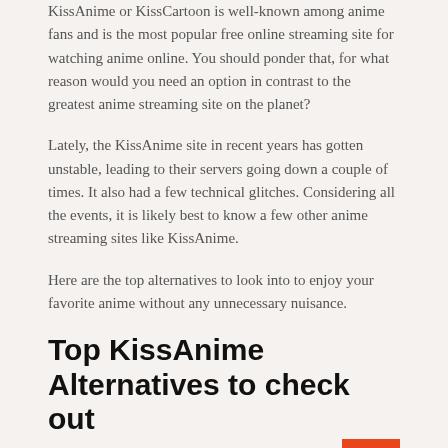KissAnime or KissCartoon is well-known among anime fans and is the most popular free online streaming site for watching anime online. You should ponder that, for what reason would you need an option in contrast to the greatest anime streaming site on the planet?
Lately, the KissAnime site in recent years has gotten unstable, leading to their servers going down a couple of times. It also had a few technical glitches. Considering all the events, it is likely best to know a few other anime streaming sites like KissAnime.
Here are the top alternatives to look into to enjoy your favorite anime without any unnecessary nuisance.
Top KissAnime Alternatives to check out
[Figure (photo): Small broken/placeholder image thumbnail]
Crunchyroll is one of the best and most famous KissAnime